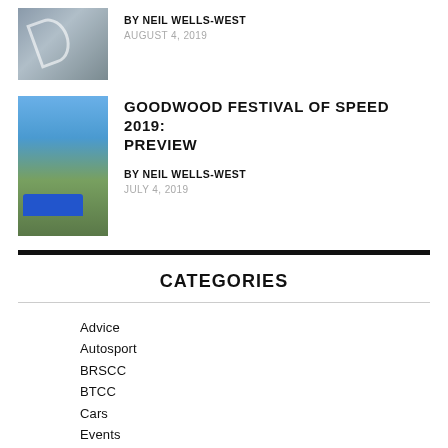[Figure (photo): Thumbnail image of a motorsport-related scene with sculpture and building]
BY NEIL WELLS-WEST
AUGUST 4, 2019
[Figure (photo): Thumbnail image of Goodwood Festival of Speed with blue car and Goodwood House]
GOODWOOD FESTIVAL OF SPEED 2019: PREVIEW
BY NEIL WELLS-WEST
JULY 4, 2019
CATEGORIES
Advice
Autosport
BRSCC
BTCC
Cars
Events
Formula 1
Formula 3